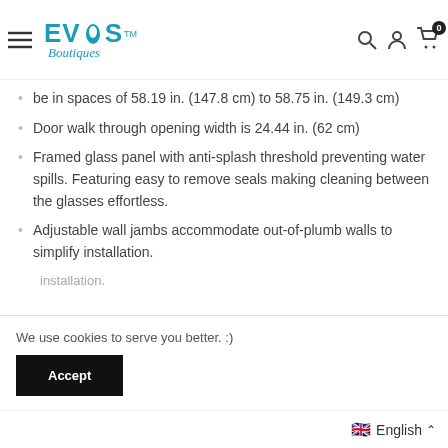EVOS Boutiques — navigation header with menu, logo, search, account, cart icons
be in spaces of 58.19 in. (147.8 cm) to 58.75 in. (149.3 cm)
Door walk through opening width is 24.44 in. (62 cm)
Framed glass panel with anti-splash threshold preventing water spills. Featuring easy to remove seals making cleaning between the glasses effortless.
Adjustable wall jambs accommodate out-of-plumb walls to simplify installation.
We use cookies to serve you better. :)
Accept
installation.
English